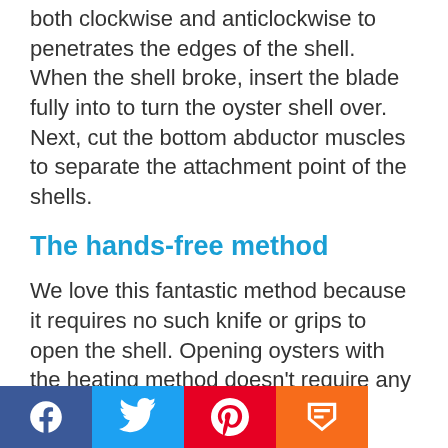both clockwise and anticlockwise to penetrates the edges of the shell. When the shell broke, insert the blade fully into to turn the oyster shell over. Next, cut the bottom abductor muscles to separate the attachment point of the shells.
The hands-free method
We love this fantastic method because it requires no such knife or grips to open the shell. Opening oysters with the heating method doesn't require any
[Figure (other): Social media share buttons: Facebook (blue), Twitter (light blue), Pinterest (red), Mix (orange)]